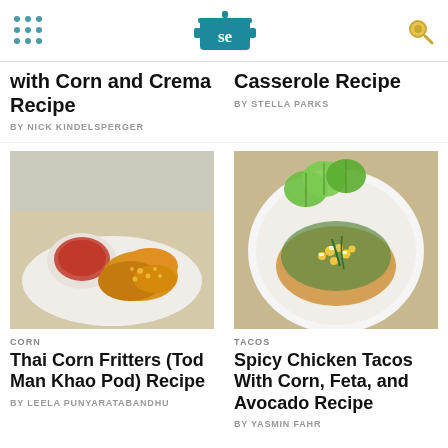Serious Eats logo and navigation
with Corn and Crema Recipe
BY NICK KINDELSPERGER
Casserole Recipe
BY STELLA PARKS
[Figure (photo): Thai corn fritters on a white plate with a bowl of red dipping sauce]
CORN
Thai Corn Fritters (Tod Man Khao Pod) Recipe
BY LEELA PUNYARATABANDHU
[Figure (photo): Spicy chicken taco on a white plate topped with corn, feta, avocado, and lime wedges]
TACOS
Spicy Chicken Tacos With Corn, Feta, and Avocado Recipe
BY YASMIN FAHR